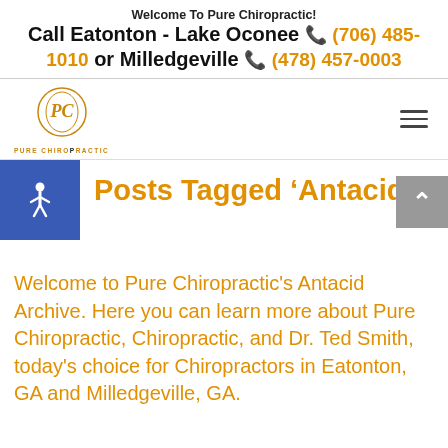Welcome To Pure Chiropractic! Call Eatonton - Lake Oconee (706) 485-1010 or Milledgeville (478) 457-0003
[Figure (logo): Pure Chiropractic logo: a circular emblem with stylized letters and text 'PURE CHIROPRACTIC' below]
Posts Tagged ‘Antacid’
Welcome to Pure Chiropractic's Antacid Archive. Here you can learn more about Pure Chiropractic, Chiropractic, and Dr. Ted Smith, today's choice for Chiropractors in Eatonton, GA and Milledgeville, GA.